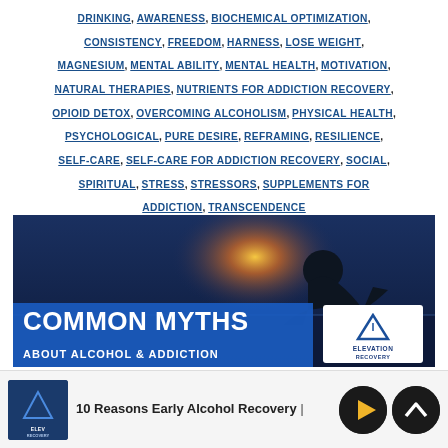DRINKING, AWARENESS, BIOCHEMICAL OPTIMIZATION, CONSISTENCY, FREEDOM, HARNESS, LOSE WEIGHT, MAGNESIUM, MENTAL ABILITY, MENTAL HEALTH, MOTIVATION, NATURAL THERAPIES, NUTRIENTS FOR ADDICTION RECOVERY, OPIOID DETOX, OVERCOMING ALCOHOLISM, PHYSICAL HEALTH, PSYCHOLOGICAL, PURE DESIRE, REFRAMING, RESILIENCE, SELF-CARE, SELF-CARE FOR ADDICTION RECOVERY, SOCIAL, SPIRITUAL, STRESS, STRESSORS, SUPPLEMENTS FOR ADDICTION, TRANSCENDENCE
[Figure (photo): Banner image with silhouette of a person against a bright background. Blue overlay at bottom reading COMMON MYTHS ABOUT ALCOHOL & ADDICTION with Elevation Recovery logo.]
10 Reasons Early Alcohol Recovery
[Figure (other): Elevation Recovery thumbnail logo in dark blue]